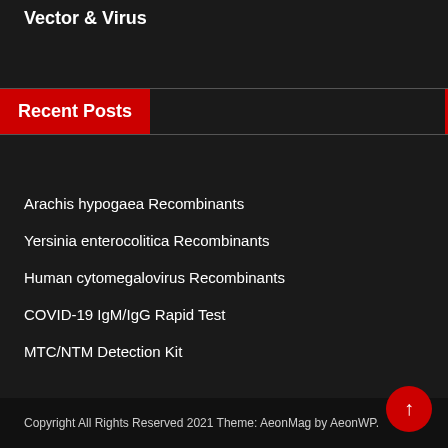Vector & Virus
Recent Posts
Arachis hypogaea Recombinants
Yersinia enterocolitica Recombinants
Human cytomegalovirus Recombinants
COVID-19 IgM/IgG Rapid Test
MTC/NTM Detection Kit
Copyright All Rights Reserved 2021 Theme: AeonMag by AeonWP.